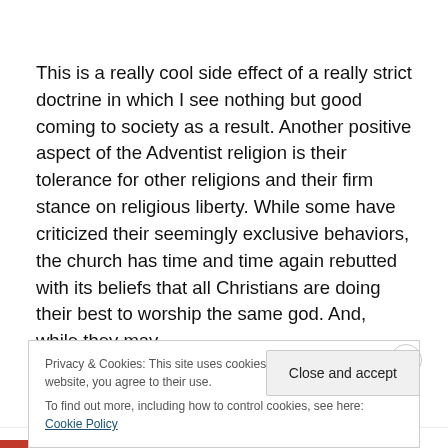This is a really cool side effect of a really strict doctrine in which I see nothing but good coming to society as a result. Another positive aspect of the Adventist religion is their tolerance for other religions and their firm stance on religious liberty. While some have criticized their seemingly exclusive behaviors, the church has time and time again rebutted with its beliefs that all Christians are doing their best to worship the same god. And, while they may
Privacy & Cookies: This site uses cookies. By continuing to use this website, you agree to their use.
To find out more, including how to control cookies, see here: Cookie Policy
Close and accept